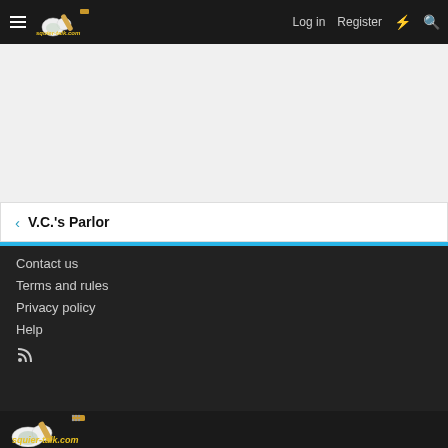squier-talk.com — Log in | Register
[Figure (screenshot): Gray advertisement/banner placeholder area]
< V.C.'s Parlor
Contact us
Terms and rules
Privacy policy
Help
RSS icon
[Figure (logo): squier-talk.com logo with white/gold stratocaster guitar and yellow italic text]